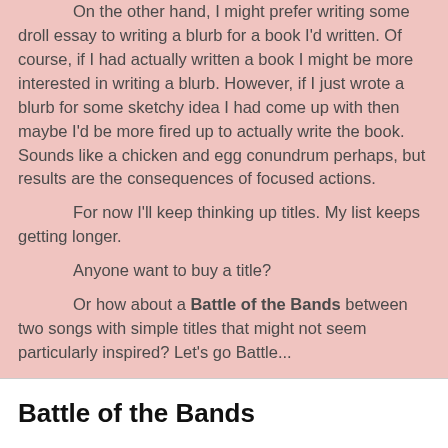On the other hand, I might prefer writing some droll essay to writing a blurb for a book I'd written.  Of course, if I had actually written a book I might be more interested in writing a blurb.  However, if I just wrote a blurb for some sketchy idea I had come up with then maybe I'd be more fired up to actually write the book.  Sounds like a chicken and egg conundrum perhaps, but results are the consequences of focused actions.
For now I'll keep thinking up titles.  My list keeps getting longer.
Anyone want to buy a title?
Or how about a Battle of the Bands between two songs with simple titles that might not seem particularly inspired?  Let's go Battle...
Battle of the Bands